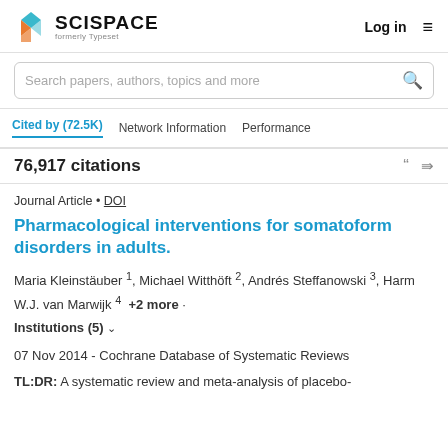[Figure (logo): SciSpace logo with colorful diamond/cube icon and text 'SCISPACE formerly Typeset']
Log in  ≡
Search papers, authors, topics and more
Cited by (72.5K)   Network Information   Performance
76,917 citations
Journal Article • DOI
Pharmacological interventions for somatoform disorders in adults.
Maria Kleinstäuber 1, Michael Witthöft 2, Andrés Steffanowski 3, Harm W.J. van Marwijk 4  +2 more · Institutions (5) ∨
07 Nov 2014 - Cochrane Database of Systematic Reviews
TL:DR: A systematic review and meta-analysis of placebo-